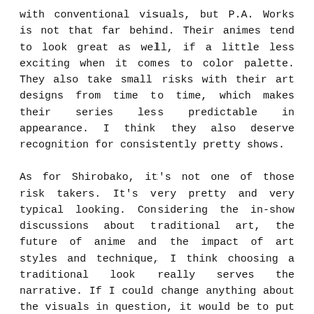with conventional visuals, but P.A. Works is not that far behind. Their animes tend to look great as well, if a little less exciting when it comes to color palette. They also take small risks with their art designs from time to time, which makes their series less predictable in appearance. I think they also deserve recognition for consistently pretty shows.
As for Shirobako, it's not one of those risk takers. It's very pretty and very typical looking. Considering the in-show discussions about traditional art, the future of anime and the impact of art styles and technique, I think choosing a traditional look really serves the narrative. If I could change anything about the visuals in question, it would be to put Yuka in the background of every shot. I really think this needs no explanation.